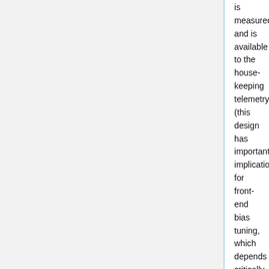is measured and is available to the house-keeping telemetry (this design has important implications for front-end bias tuning, which depends critically on the satellite electrical and thermal configuration and was repeated at all integration stages, during on-ground and in-flight satellite tests). A phase shift alternating between 0° and 180° at the frequency of 4096 Hz is applied in one of the two amplification chains and then a second hybrid coupler separates back the sky and reference load components that are further amplified and detected in the warm BEU, with a voltage output ranging from -2.5 V to +2.5 V.
Each radiometer has two output diodes which are labelled with binary codes 00, 01 (radiometer M) and 10, 11 (radiometer S), so that the four outputs